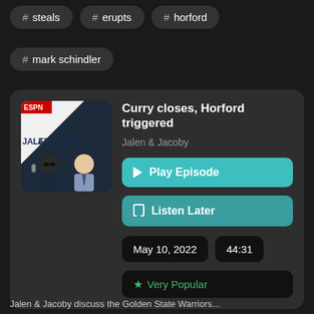# steals
# erupts
# horford
# mark schindler
Curry closes, Horford triggered
Jalen & Jacoby
Play Episode
Listen Later
May 10, 2022
44:31
Very Popular
Jalen & Jacoby discuss the Golden State Warriors...